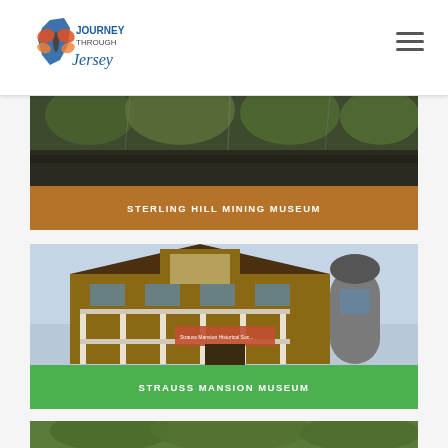[Figure (logo): Journey Through Jersey logo with butterfly and state map icon]
[Figure (photo): Sterling Hill Mining Museum - partial top view of mine entrance with trees]
STERLING HILL MINING MUSEUM
[Figure (photo): Strauss Mansion Museum - Victorian-style house with wrap-around porch and turret]
STRAUSS MANSION MUSEUM
[Figure (photo): Partial view of third museum entry - green foliage visible at bottom]